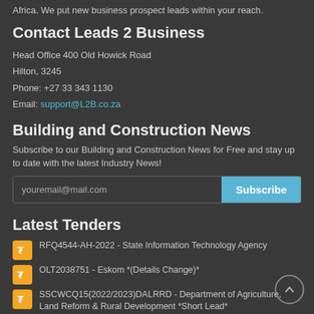Africa. We put new business prospect leads within your reach.
Contact Leads 2 Business
Head Office 400 Old Howick Road
Hilton, 3245
Phone: +27 33 343 1130
Email: support@L2B.co.za
Building and Construction News
Subscribe to our Building and Construction News for Free and stay up to date with the latest Industry News!
youremail@mail.com [Subscribe button]
Latest Tenders
RFQ4544-AH-2022 - State Information Technology Agency
OLT2038751 - Eskom *(Details Change)*
SSCWCQ15(2022/2023)DALRRD - Department of Agriculture, Land Reform & Rural Development *Short Lead*